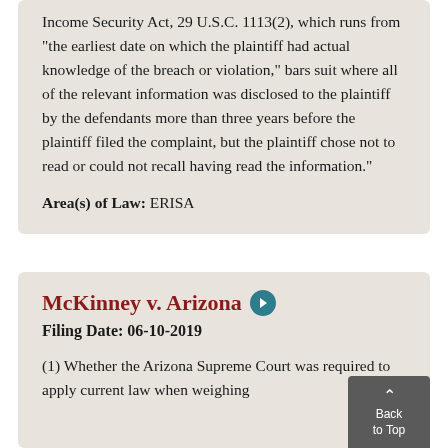Income Security Act, 29 U.S.C. 1113(2), which runs from "the earliest date on which the plaintiff had actual knowledge of the breach or violation," bars suit where all of the relevant information was disclosed to the plaintiff by the defendants more than three years before the plaintiff filed the complaint, but the plaintiff chose not to read or could not recall having read the information."
Area(s) of Law: ERISA
McKinney v. Arizona
Filing Date: 06-10-2019
(1) Whether the Arizona Supreme Court was required to apply current law when weighing mitigating and aggravating circumstances with